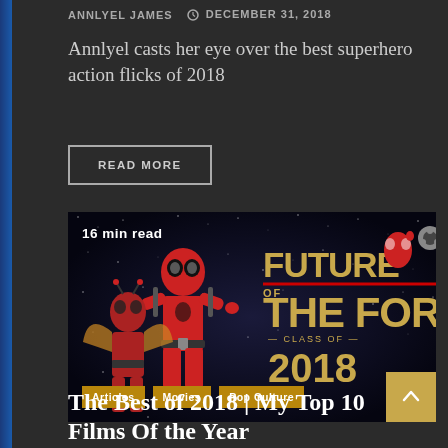ANNLYEL JAMES   DECEMBER 31, 2018
Annlyel casts her eye over the best superhero action flicks of 2018
READ MORE
[Figure (photo): Promotional image for 'Future of the Force – Class of 2018' featuring superhero characters including Deadpool, Ant-Man, and Spider-Man against a starfield background, with tags: Articles, Movies, Pop Culture]
The Best of 2018 | My Top 10 Films Of the Year